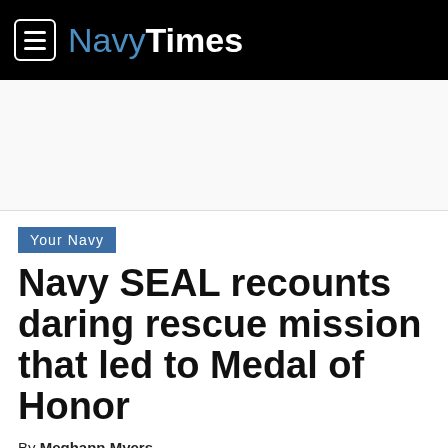NavyTimes
Your Navy
Navy SEAL recounts daring rescue mission that led to Medal of Honor
By Meghann Myers
Feb 28, 2016